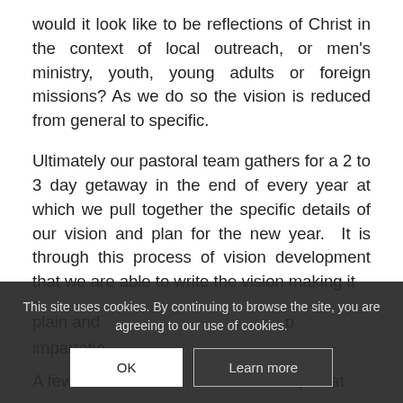would it look like to be reflections of Christ in the context of local outreach, or men's ministry, youth, young adults or foreign missions? As we do so the vision is reduced from general to specific.
Ultimately our pastoral team gathers for a 2 to 3 day getaway in the end of every year at which we pull together the specific details of our vision and plan for the new year. It is through this process of vision development that we are able to write the vision making it plain and...
impartation...
A few more key considerations are helpful at
This site uses cookies. By continuing to browse the site, you are agreeing to our use of cookies.